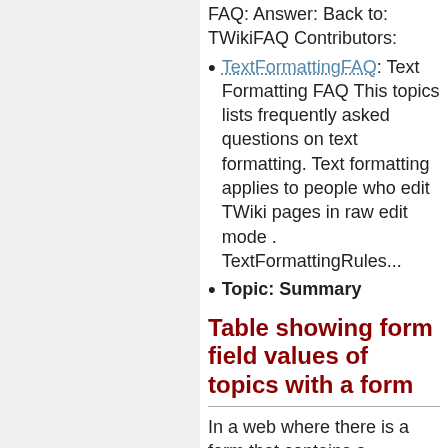FAQ: Answer: Back to: TWikiFAQ Contributors:
TextFormattingFAQ: Text Formatting FAQ This topics lists frequently asked questions on text formatting. Text formatting applies to people who edit TWiki pages in raw edit mode . TextFormattingRules...
Topic: Summary
Table showing form field values of topics with a form
In a web where there is a form that contains a TopicClassification field, an OperatingSystem field and an